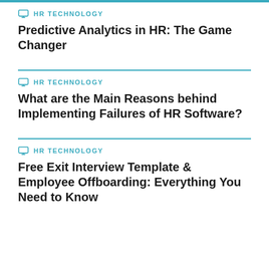HR TECHNOLOGY
Predictive Analytics in HR: The Game Changer
HR TECHNOLOGY
What are the Main Reasons behind Implementing Failures of HR Software?
HR TECHNOLOGY
Free Exit Interview Template & Employee Offboarding: Everything You Need to Know